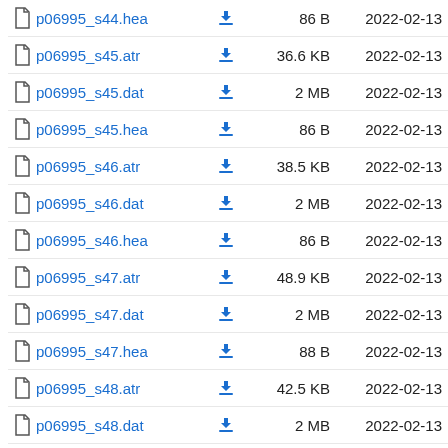p06995_s44.hea  86 B  2022-02-13
p06995_s45.atr  36.6 KB  2022-02-13
p06995_s45.dat  2 MB  2022-02-13
p06995_s45.hea  86 B  2022-02-13
p06995_s46.atr  38.5 KB  2022-02-13
p06995_s46.dat  2 MB  2022-02-13
p06995_s46.hea  86 B  2022-02-13
p06995_s47.atr  48.9 KB  2022-02-13
p06995_s47.dat  2 MB  2022-02-13
p06995_s47.hea  88 B  2022-02-13
p06995_s48.atr  42.5 KB  2022-02-13
p06995_s48.dat  2 MB  2022-02-13
p06995_s48.hea  86 B  2022-02-13
p06995_s49.atr  41.1 KB  2022-02-13